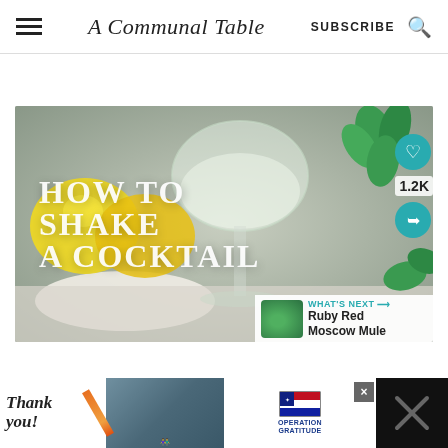A Communal Table — SUBSCRIBE
[Figure (photo): Food blog website screenshot showing header with hamburger menu, site title 'A Communal Table', subscribe button, and search icon. Below is a hero image of a cocktail glass with lemons and mint, overlaid with text 'HOW TO SHAKE A COCKTAIL'. Right side has heart icon, 1.2K share count, share button, and a 'WHAT'S NEXT → Ruby Red Moscow Mule' card at bottom right.]
[Figure (photo): Bottom advertisement banner with 'Thank you!' text, photos of people in masks, Operation Gratitude logo, and a close button. Right portion shows dark background with an X icon.]